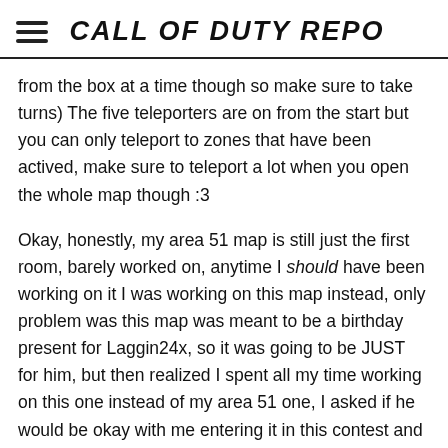CALL OF DUTY REPO
from the box at a time though so make sure to take turns) The five teleporters are on from the start but you can only teleport to zones that have been actived, make sure to teleport a lot when you open the whole map though :3
Okay, honestly, my area 51 map is still just the first room, barely worked on, anytime I should have been working on it I was working on this map instead, only problem was this map was meant to be a birthday present for Laggin24x, so it was going to be JUST for him, but then realized I spent all my time working on this one instead of my area 51 one, I asked if he would be okay with me entering it in this contest and he said it was cool (as long as he got to play it first which I will